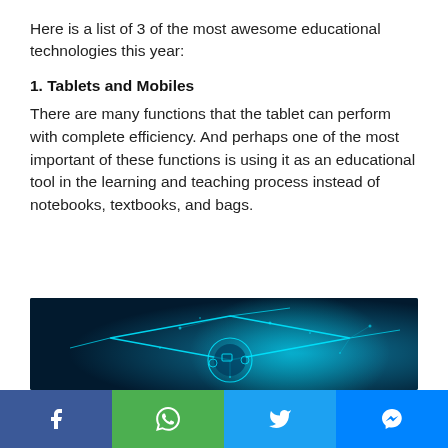Here is a list of 3 of the most awesome educational technologies this year:
1. Tablets and Mobiles
There are many functions that the tablet can perform with complete efficiency. And perhaps one of the most important of these functions is using it as an educational tool in the learning and teaching process instead of notebooks, textbooks, and bags.
[Figure (photo): Digital illustration of a glowing blue graduation cap with technology education icons on a dark background]
[Figure (infographic): Social media sharing bar with Facebook, WhatsApp, Twitter, and Messenger buttons]